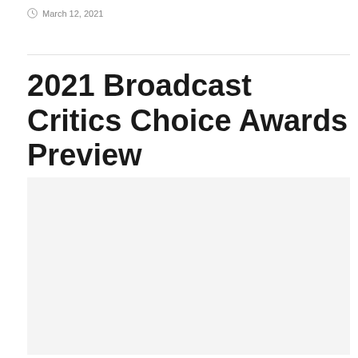March 12, 2021
2021 Broadcast Critics Choice Awards Preview
[Figure (photo): Large image placeholder with light gray background, no visible content.]